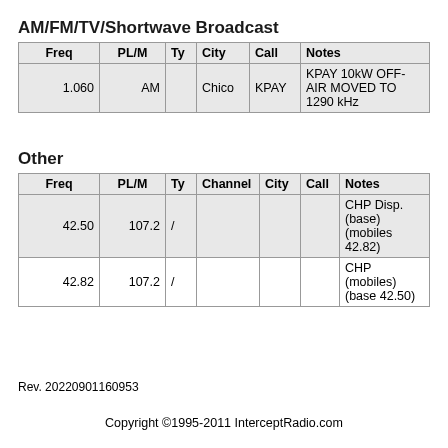AM/FM/TV/Shortwave Broadcast
| Freq | PL/M | Ty | City | Call | Notes |
| --- | --- | --- | --- | --- | --- |
| 1.060 | AM |  | Chico | KPAY | KPAY 10kW OFF-AIR MOVED TO 1290 kHz |
Other
| Freq | PL/M | Ty | Channel | City | Call | Notes |
| --- | --- | --- | --- | --- | --- | --- |
| 42.50 | 107.2 | / |  |  |  | CHP Disp. (base) (mobiles 42.82) |
| 42.82 | 107.2 | / |  |  |  | CHP (mobiles) (base 42.50) |
Rev. 20220901160953
Copyright ©1995-2011 InterceptRadio.com